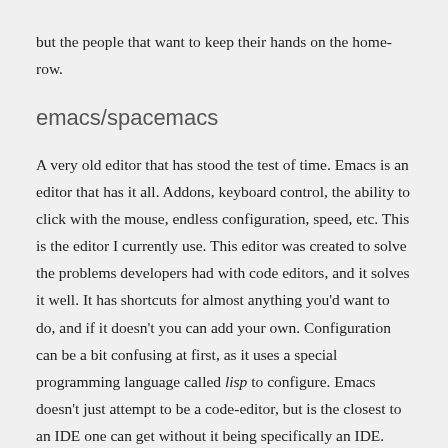but the people that want to keep their hands on the home-row.
emacs/spacemacs
A very old editor that has stood the test of time. Emacs is an editor that has it all. Addons, keyboard control, the ability to click with the mouse, endless configuration, speed, etc. This is the editor I currently use. This editor was created to solve the problems developers had with code editors, and it solves it well. It has shortcuts for almost anything you'd want to do, and if it doesn't you can add your own. Configuration can be a bit confusing at first, as it uses a special programming language called lisp to configure. Emacs doesn't just attempt to be a code-editor, but is the closest to an IDE one can get without it being specifically an IDE. Emacs allows you to do almost anything you'd want without leaving the editor.